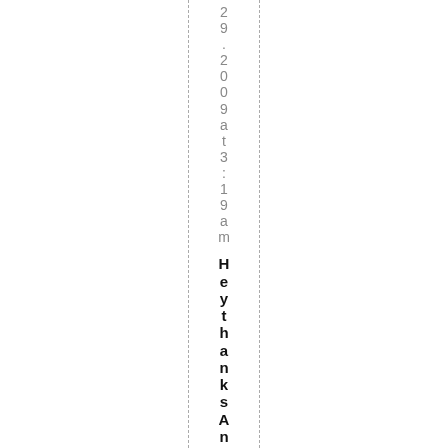9.2009 at 3:19 am
Hey thanks Angel u